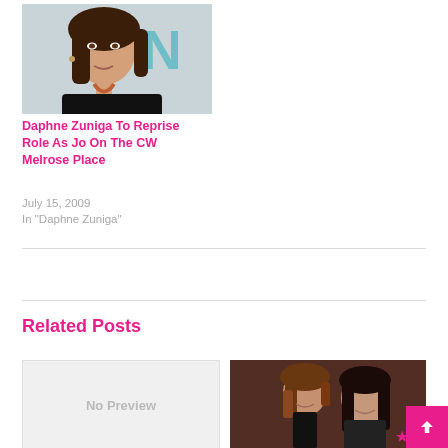[Figure (photo): Portrait photo of a woman with brown hair wearing a black top, photographed at an event]
Daphne Zuniga To Reprise Role As Jo On The CW Melrose Place
July 15, 2009
In "Daphne Zuniga"
[Figure (infographic): Tweet button (blue rounded) and Save/Pinterest button (red)]
Related Posts
[Figure (photo): No Preview placeholder image]
[Figure (photo): Photo of two women at an event, one with short hair and one with long dark hair]